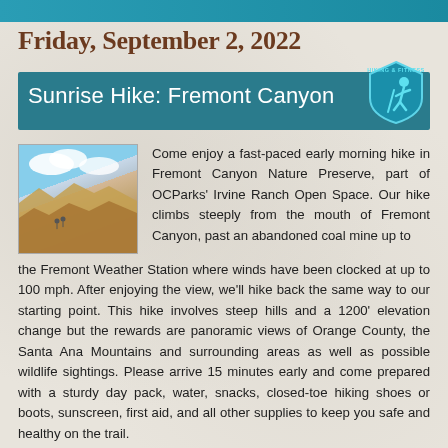Friday, September 2, 2022
Sunrise Hike: Fremont Canyon
[Figure (photo): Outdoor canyon landscape photo showing sandy terrain with rocky cliffs under a blue sky with white clouds, and hikers visible in the distance]
Come enjoy a fast-paced early morning hike in Fremont Canyon Nature Preserve, part of OCParks' Irvine Ranch Open Space. Our hike climbs steeply from the mouth of Fremont Canyon, past an abandoned coal mine up to the Fremont Weather Station where winds have been clocked at up to 100 mph. After enjoying the view, we'll hike back the same way to our starting point. This hike involves steep hills and a 1200' elevation change but the rewards are panoramic views of Orange County, the Santa Ana Mountains and surrounding areas as well as possible wildlife sightings. Please arrive 15 minutes early and come prepared with a sturdy day pack, water, snacks, closed-toe hiking shoes or boots, sunscreen, first aid, and all other supplies to keep you safe and healthy on the trail.